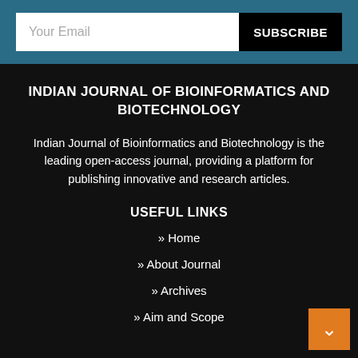Your Email
SUBSCRIBE
INDIAN JOURNAL OF BIOINFORMATICS AND BIOTECHNOLOGY
Indian Journal of Bioinformatics and Biotechnology is the leading open-access journal, providing a platform for publishing innovative and research articles.
USEFUL LINKS
» Home
» About Journal
» Archives
» Aim and Scope